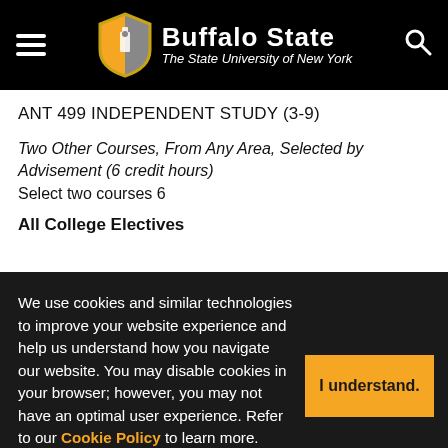[Figure (logo): Buffalo State - The State University of New York header with shield logo, hamburger menu icon, and search icon on black background]
ANT 499 INDEPENDENT STUDY (3-9)
Two Other Courses, From Any Area, Selected by Advisement (6 credit hours)
Select two courses 6
All College Electives
We use cookies and similar technologies to improve your website experience and help us understand how you navigate our website. You may disable cookies in your browser; however, you may not have an optimal user experience. Refer to our Cookie Policy to learn more.